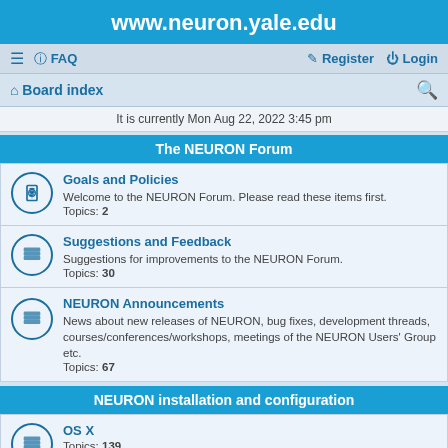www.neuron.yale.edu
≡  FAQ    Register  Login
Board index
It is currently Mon Aug 22, 2022 3:45 pm
The NEURON Forum
Goals and Policies
Welcome to the NEURON Forum. Please read these items first.
Topics: 2
Suggestions and Feedback
Suggestions for improvements to the NEURON Forum.
Topics: 30
NEURON Announcements
News about new releases of NEURON, bug fixes, development threads, courses/conferences/workshops, meetings of the NEURON Users' Group etc.
Topics: 67
NEURON installation and configuration
OS X
Topics: 139
MSWin
Topics: 133